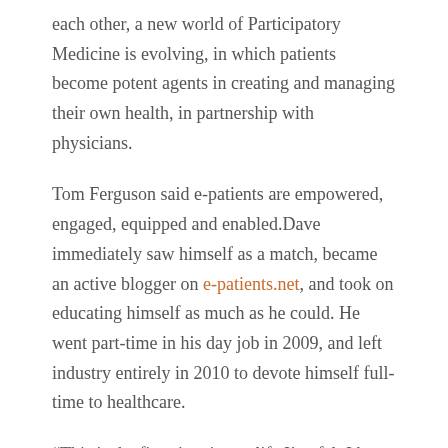each other, a new world of Participatory Medicine is evolving, in which patients become potent agents in creating and managing their own health, in partnership with physicians.
Tom Ferguson said e-patients are empowered, engaged, equipped and enabled.Dave immediately saw himself as a match, became an active blogger on e-patients.net, and took on educating himself as much as he could. He went part-time in his day job in 2009, and left industry entirely in 2010 to devote himself full-time to healthcare.
“This is the first time in my life I’ve felt I have a